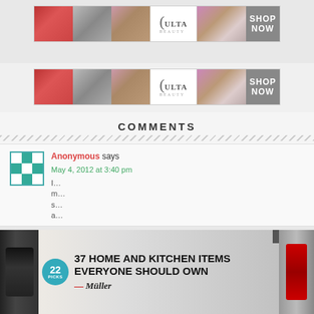[Figure (advertisement): Ulta Beauty advertisement banner with makeup images (lips, brush, eye) and ULTA logo with SHOP NOW button]
[Figure (advertisement): Second Ulta Beauty advertisement banner, identical layout to first]
COMMENTS
Anonymous says
May 4, 2012 at 3:40 pm
[Figure (advertisement): Overlay ad for '37 Home and Kitchen Items Everyone Should Own' with Mueller branding, dumbbell image, and CLOSE button]